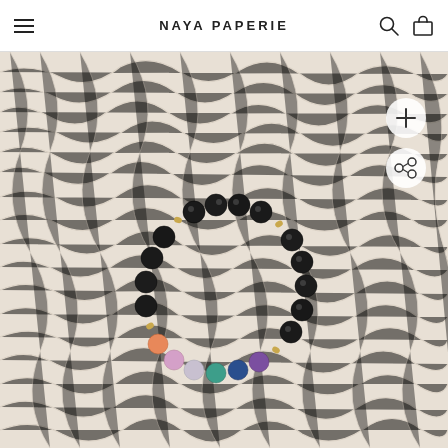NAYA PAPERIE
[Figure (photo): A colorful beaded bracelet with black onyx beads and seven chakra gemstone beads (purple amethyst, blue lapis lazuli, teal/green, clear/white, pink/lavender, orange/peach) laid on a fluffy white/cream textured fabric background. Two circular action buttons (plus and share) are visible on the right side.]